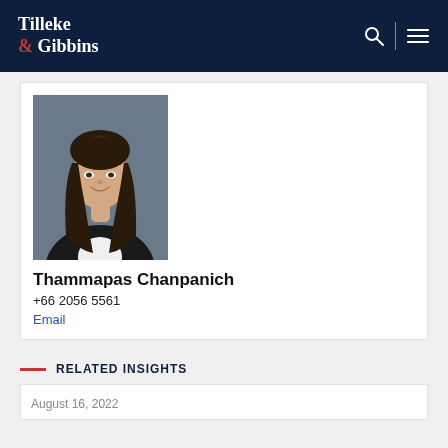Tilleke & Gibbins
[Figure (photo): Professional headshot of Thammapas Chanpanich, a young woman with long dark hair, wearing a black blazer and white top, against a grey background.]
Thammapas Chanpanich
+66 2056 5561
Email
RELATED INSIGHTS
August 16, 2022